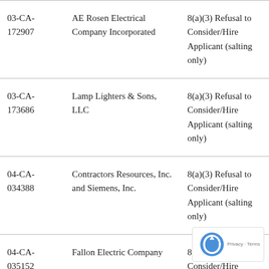| 03-CA-
172907 | AE Rosen Electrical Company Incorporated | 8(a)(3) Refusal to Consider/Hire Applicant (salting only) |
| 03-CA-
173686 | Lamp Lighters & Sons, LLC | 8(a)(3) Refusal to Consider/Hire Applicant (salting only) |
| 04-CA-
034388 | Contractors Resources, Inc. and Siemens, Inc. | 8(a)(3) Refusal to Consider/Hire Applicant (salting only) |
| 04-CA-
035152 | Fallon Electric Company | 8(a)(3) Refusal to Consider/Hire Applicant (salting only) |